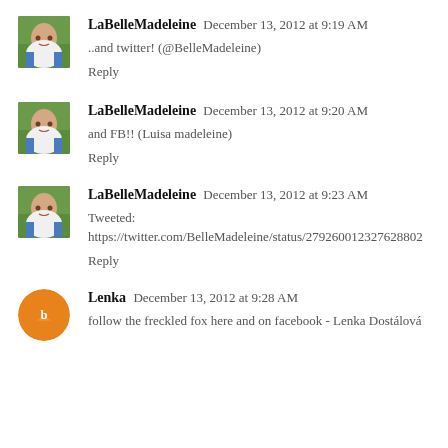LaBelleMadeleine  December 13, 2012 at 9:19 AM
..and twitter! (@BelleMadeleine)
Reply
LaBelleMadeleine  December 13, 2012 at 9:20 AM
and FB!! (Luisa madeleine)
Reply
LaBelleMadeleine  December 13, 2012 at 9:23 AM
Tweeted: https://twitter.com/BelleMadeleine/status/279260012327628802
Reply
Lenka  December 13, 2012 at 9:28 AM
follow the freckled fox here and on facebook - Lenka Dostálová